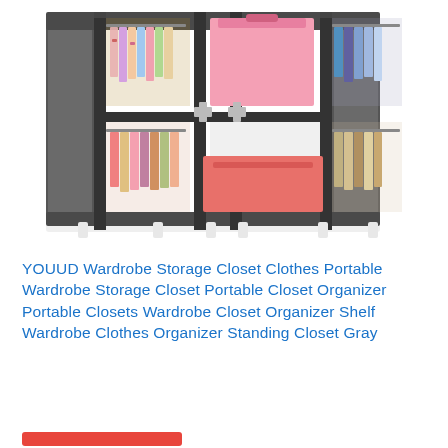[Figure (photo): A portable fabric wardrobe storage closet with gray cover, showing hanging clothes on both sides, folded colorful items in the middle shelves, and pink/red storage boxes. The closet has a metal frame with white feet.]
YOUUD Wardrobe Storage Closet Clothes Portable Wardrobe Storage Closet Portable Closet Organizer Portable Closets Wardrobe Closet Organizer Shelf Wardrobe Clothes Organizer Standing Closet Gray